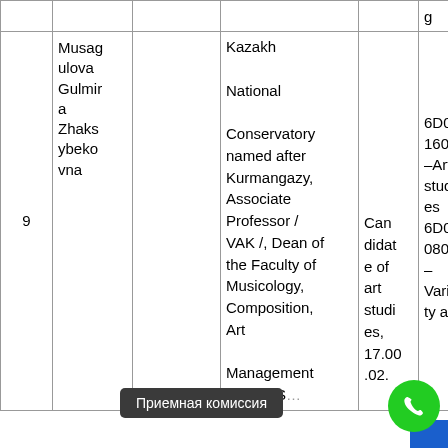| # |  |  | Position / academic degree | Degree / specialty | Specialty code |
| --- | --- | --- | --- | --- | --- |
| 9 | Musagulova Gulmira Zhaksybekovna |  | Kazakh National Conservatory named after Kurmangazy, Associate Professor / VAK /, Dean of the Faculty of Musicology, Composition, Art Management and SRS... | Candidate of art studies, 17.00.02. | 6D041600 –Art studies 6D040800 – Variety art |